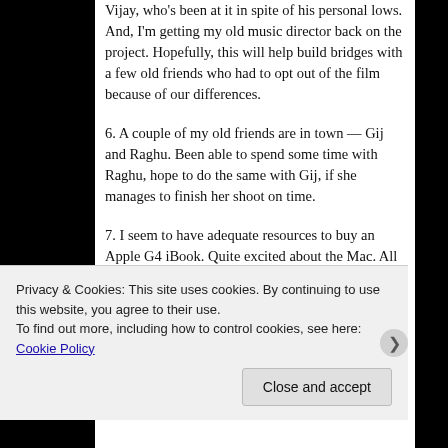Vijay, who's been at it in spite of his personal lows. And, I'm getting my old music director back on the project. Hopefully, this will help build bridges with a few old friends who had to opt out of the film because of our differences.
6. A couple of my old friends are in town — Gij and Raghu. Been able to spend some time with Raghu, hope to do the same with Gij, if she manages to finish her shoot on time.
7. I seem to have adequate resources to buy an Apple G4 iBook. Quite excited about the Mac. All I need is a stopover in Singapore on my way back from Australia. I just pray that is possible.
8. Been single, content and independent. Freedom… Yay!!
Privacy & Cookies: This site uses cookies. By continuing to use this website, you agree to their use.
To find out more, including how to control cookies, see here: Cookie Policy
Close and accept